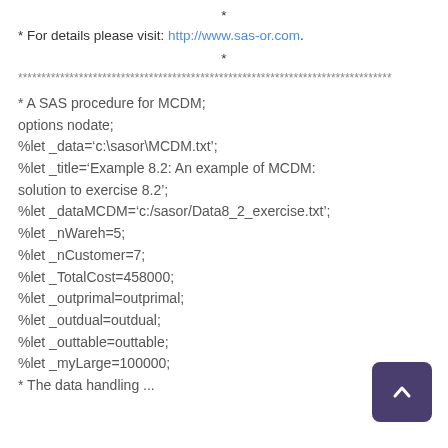*
* For details please visit: http://www.sas-or.com.
*
********************************************************************************
* A SAS procedure for MCDM;
options nodate;
%let _data='c:\sasor\MCDM.txt';
%let _title='Example 8.2: An example of MCDM: solution to exercise 8.2';
%let _dataMCDM='c:/sasor/Data8_2_exercise.txt';
%let _nWareh=5;
%let _nCustomer=7;
%let _TotalCost=458000;
%let _outprimal=outprimal;
%let _outdual=outdual;
%let _outtable=outtable;
%let _myLarge=100000;
* The data handling macro;